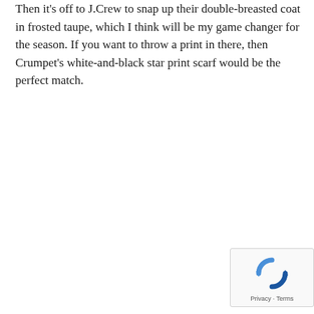Then it's off to J.Crew to snap up their double-breasted coat in frosted taupe, which I think will be my game changer for the season. If you want to throw a print in there, then Crumpet's white-and-black star print scarf would be the perfect match.
[Figure (other): reCAPTCHA badge with rotating arrows icon and Privacy · Terms links]